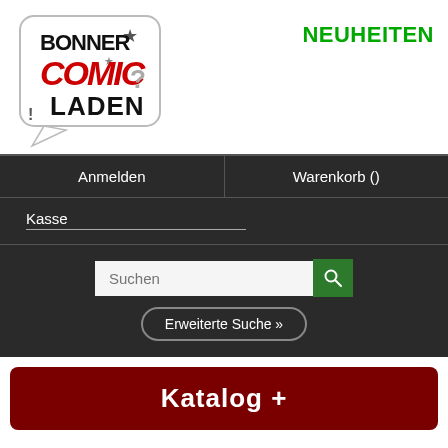[Figure (logo): Bonner Comic Laden logo — speech bubble shape with stylized comic lettering BONNER COMIC LADEN]
NEUHEITEN
Anmelden
Warenkorb ()
Kasse
Suchen
Erweiterte Suche »
Katalog  +
Wolverine